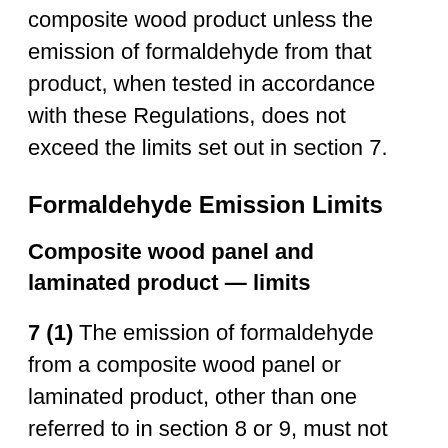A person must not sell or offer for sale a composite wood product unless the emission of formaldehyde from that product, when tested in accordance with these Regulations, does not exceed the limits set out in section 7.
Formaldehyde Emission Limits
Composite wood panel and laminated product — limits
7 (1) The emission of formaldehyde from a composite wood panel or laminated product, other than one referred to in section 8 or 9, must not exceed the